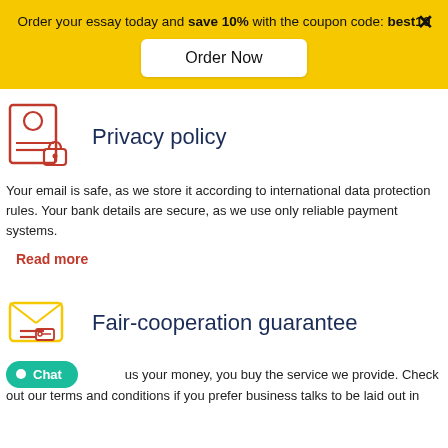Order your essay today and save 10% with the coupon code: best10
Order Now
Privacy policy
Your email is safe, as we store it according to international data protection rules. Your bank details are secure, as we use only reliable payment systems.
Read more
Fair-cooperation guarantee
By us your money, you buy the service we provide. Check out our terms and conditions if you prefer business talks to be laid out in
Chat